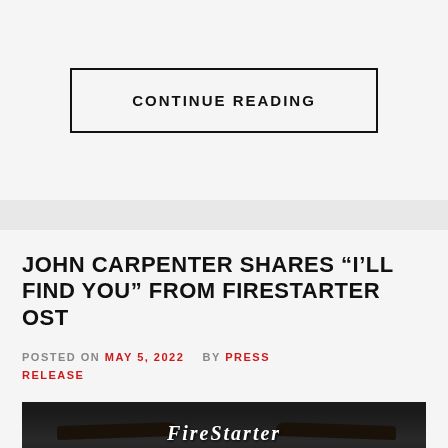CONTINUE READING
JOHN CARPENTER SHARES “I’LL FIND YOU” FROM FIRESTARTER OST
POSTED ON MAY 5, 2022  BY PRESS RELEASE
[Figure (photo): Firestarter movie OST cover showing a face with glowing orange eyes and the FireStarter title text]